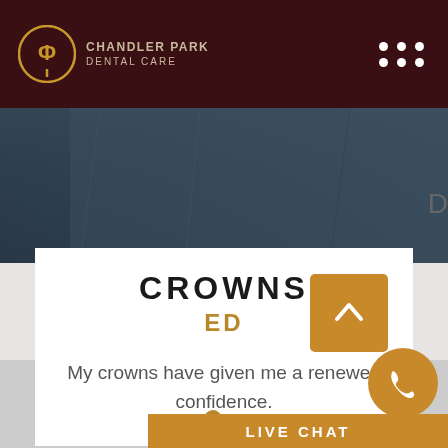[Figure (logo): Chandler Park Dental Care logo — circular icon with CP initials and a tooth/pin shape, gold on dark red background, with text 'CHANDLER PARK DENTAL CARE']
[Figure (photo): Partial photo of a person in a dark denim or fabric garment, dark teal/blue tones, cropped at top]
CROWNS
ED
My crowns have given me a renewed confidence.
[Figure (screenshot): Scroll-to-top button (golden/bronze square with upward chevron arrow), phone call button (golden circle with phone icon), and Live Chat bar at bottom]